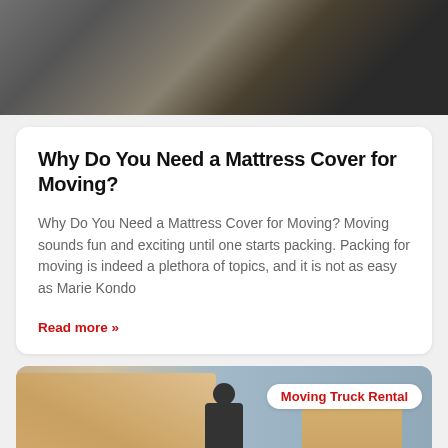[Figure (photo): Bedroom furniture photo showing dark dresser drawers and wooden bed frame]
Why Do You Need a Mattress Cover for Moving?
Why Do You Need a Mattress Cover for Moving? Moving sounds fun and exciting until one starts packing. Packing for moving is indeed a plethora of topics, and it is not as easy as Marie Kondo
Read more »
[Figure (photo): Moving boxes stacked with a person in background, label badge reading Moving Truck Rental]